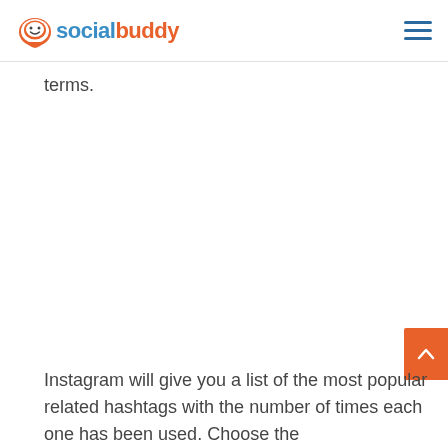socialbuddy
terms.
Instagram will give you a list of the most popular related hashtags with the number of times each one has been used. Choose the